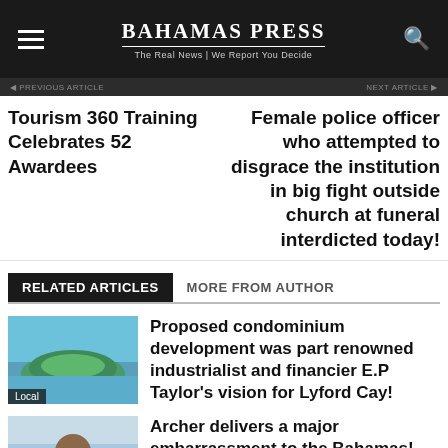BAHAMAS PRESS — The Real News | We Report You Decide
Tourism 360 Training Celebrates 52 Awardees
Female police officer who attempted to disgrace the institution in big fight outside church at funeral interdicted today!
RELATED ARTICLES
MORE FROM AUTHOR
Proposed condominium development was part renowned industrialist and financier E.P Taylor's vision for Lyford Cay!
Archer delivers a major embarrassment to the Bahamas!